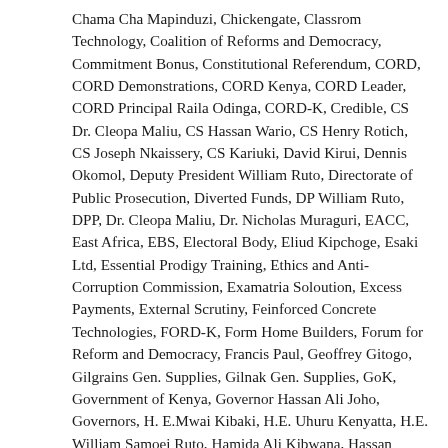Chama Cha Mapinduzi, Chickengate, Classrom Technology, Coalition of Reforms and Democracy, Commitment Bonus, Constitutional Referendum, CORD, CORD Demonstrations, CORD Kenya, CORD Leader, CORD Principal Raila Odinga, CORD-K, Credible, CS Dr. Cleopa Maliu, CS Hassan Wario, CS Henry Rotich, CS Joseph Nkaissery, CS Kariuki, David Kirui, Dennis Okomol, Deputy President William Ruto, Directorate of Public Prosecution, Diverted Funds, DP William Ruto, DPP, Dr. Cleopa Maliu, Dr. Nicholas Muraguri, EACC, East Africa, EBS, Electoral Body, Eliud Kipchoge, Esaki Ltd, Essential Prodigy Training, Ethics and Anti-Corruption Commission, Examatria Soloution, Excess Payments, External Scrutiny, Feinforced Concrete Technologies, FORD-K, Form Home Builders, Forum for Reform and Democracy, Francis Paul, Geoffrey Gitogo, Gilgrains Gen. Supplies, Gilnak Gen. Supplies, GoK, Government of Kenya, Governor Hassan Ali Joho, Governors, H. E.Mwai Kibaki, H.E. Uhuru Kenyatta, H.E. William Samoei Ruto, Hamida Ali Kibwana, Hassan Ahmed Issack, Hassan Issack, Hassan Wario, Health